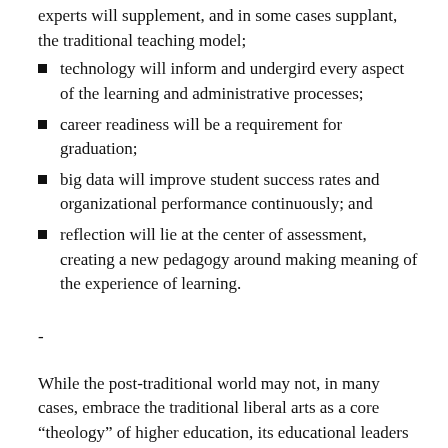experts will supplement, and in some cases supplant, the traditional teaching model;
technology will inform and undergird every aspect of the learning and administrative processes;
career readiness will be a requirement for graduation;
big data will improve student success rates and organizational performance continuously; and
reflection will lie at the center of assessment, creating a new pedagogy around making meaning of the experience of learning.
-
While the post-traditional world may not, in many cases, embrace the traditional liberal arts as a core “theology” of higher education, its educational leaders will need to focus on learners and learning, research